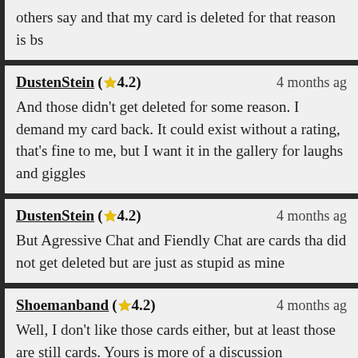others say and that my card is deleted for that reason is bs
DustenStein (★4.2)  4 months ago
And those didn't get deleted for some reason. I demand my card back. It could exist without a rating, that's fine to me, but I want it in the gallery for laughs and giggles
DustenStein (★4.2)  4 months ago
But Agressive Chat and Fiendly Chat are cards that did not get deleted but are just as stupid as mine
Shoemanband (★4.2)  4 months ago
Well, I don't like those cards either, but at least those are still cards. Yours is more of a discussion